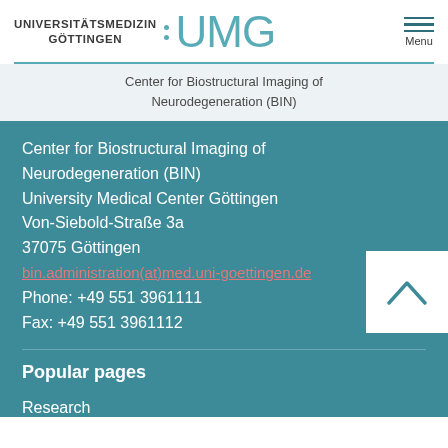UNIVERSITÄTSMEDIZIN GÖTTINGEN : UMG  Menu
Center for Biostructural Imaging of Neurodegeneration (BIN)
Center for Biostructural Imaging of Neurodegeneration (BIN)
University Medical Center Göttingen
Von-Siebold-Straße 3a
37075 Göttingen
bin.administration(at)med.uni-goettingen.de
Phone: +49 551 3961111
Fax: +49 551 3961112
Popular pages
Research